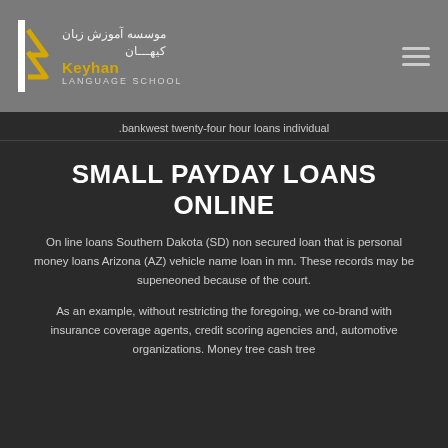[Figure (logo): Keyhan Language School logo with stylized K and Persian text موسسه آموزش زبان کیهان]
.bankwest twenty-four hour loans individual
SMALL PAYDAY LOANS ONLINE
On line loans Southern Dakota (SD) non secured loan that is personal money loans Arizona (AZ) vehicle name loan in mn. These records may be supeneoned because of the court.
As an example, without restricting the foregoing, we co-brand with insurance coverage agents, credit scoring agencies and, automotive organizations. Money tree cash tree